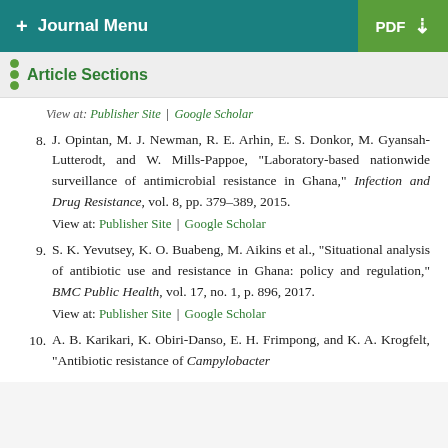+ Journal Menu | PDF
Article Sections
View at: Publisher Site | Google Scholar
8. J. Opintan, M. J. Newman, R. E. Arhin, E. S. Donkor, M. Gyansah-Lutterodt, and W. Mills-Pappoe, "Laboratory-based nationwide surveillance of antimicrobial resistance in Ghana," Infection and Drug Resistance, vol. 8, pp. 379–389, 2015. View at: Publisher Site | Google Scholar
9. S. K. Yevutsey, K. O. Buabeng, M. Aikins et al., "Situational analysis of antibiotic use and resistance in Ghana: policy and regulation," BMC Public Health, vol. 17, no. 1, p. 896, 2017. View at: Publisher Site | Google Scholar
10. A. B. Karikari, K. Obiri-Danso, E. H. Frimpong, and K. A. Krogfelt, "Antibiotic resistance of Campylobacter